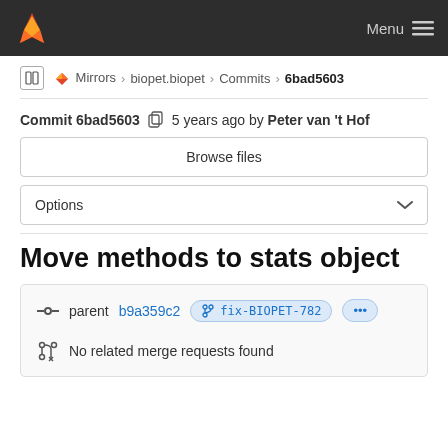Menu
Mirrors > biopet.biopet > Commits > 6bad5603
Commit 6bad5603  5 years ago by Peter van 't Hof
Browse files
Options
Move methods to stats object
parent b9a359c2  fix-BIOPET-782  ...
No related merge requests found